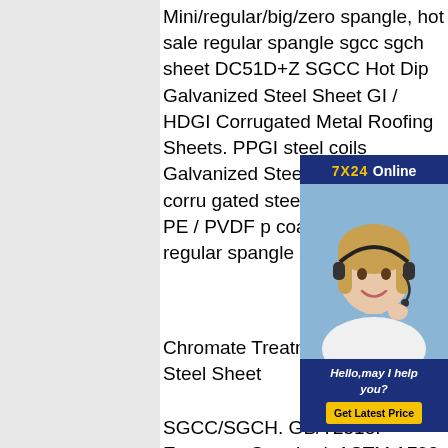Mini/regular/big/zero spangle, hot sale regular spangle sgcc sgch sheet DC51D+Z SGCC Hot Dip Galvanized Steel Sheet GI / HDGI Corrugated Metal Roofing Sheets. PPGI steel coils Galvanized Steel Sheet and corrugated steel roofing sheets PE / PVDF pre-coated hot sale regular spangle sgcc sgch sheet
[Figure (other): Customer service chat widget overlay showing '7X24 Online' header in gold/white on dark blue background, a woman wearing a headset smiling, with 'Hello,may I help you?' text and 'Get Latest Price' yellow button at bottom.]
Chromate Treatment Hot Dip Galvanized Steel Sheet
SGCC/SGCH. GB/T2518. European Standard. ASTM A792. JIS G3321. JIS G3317 . GRADE . CGCC. CGCH. CGCD1-CGCD3. hot sale regular spangle sgcc sgch sheet Mini/regular/big/zero spangle, hot sale regular spangle sgcc